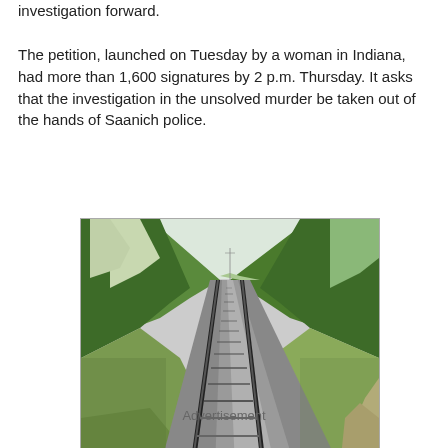investigation forward.
The petition, launched on Tuesday by a woman in Indiana, had more than 1,600 signatures by 2 p.m. Thursday. It asks that the investigation in the unsolved murder be taken out of the hands of Saanich police.
[Figure (photo): Perspective view looking down a pair of railroad tracks receding to the horizon, flanked by green trees and vegetation on both sides, with gravel and a dirt path beside the tracks.]
Advertisement